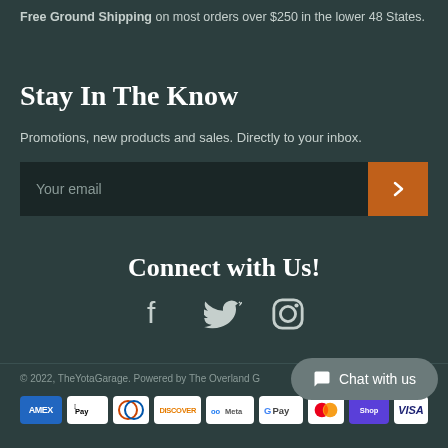Free Ground Shipping on most orders over $250 in the lower 48 States.
Stay In The Know
Promotions, new products and sales. Directly to your inbox.
[Figure (other): Email subscription bar with placeholder 'Your email' and an orange submit button with a right chevron arrow.]
Connect with Us!
[Figure (other): Social media icons: Facebook, Twitter, Instagram]
© 2022, TheYotaGarage. Powered by The Overland G...
[Figure (other): Payment method badges: AMEX, Apple Pay, Diners Club, Discover, Meta Pay, Google Pay, Mastercard, Shop Pay, Visa]
Chat with us